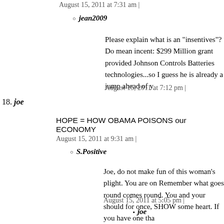August 15, 2011 at 7:31 am |
jean2009
Please explain what is an "insentives"? Do mean incent: $299 Million grant provided Johnson Controls Batteries technologies...so I guess he is already a jump ahead of y
August 15, 2011 at 7:12 pm |
18. joe
HOPE = HOW OBAMA POISONS our ECONOMY
August 15, 2011 at 9:31 am |
S.Positive
Joe, do not make fun of this woman's plight. You are on Remember what goes round comes round. You and your should for once, SHOW some heart. If you have one tha
August 15, 2011 at 5:05 pm |
joe
Take a pill I'm talking about Obama don't try to m women you low life liberals alway try to turn con
August 15, 2011 at 5:14 pm |